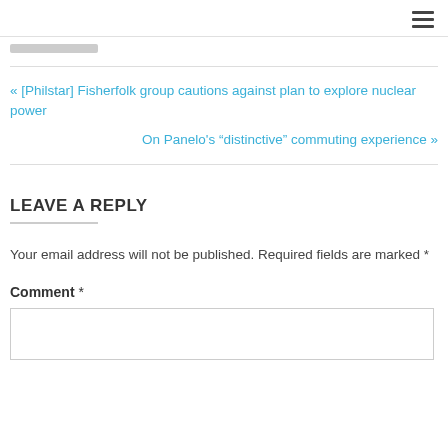« [Philstar] Fisherfolk group cautions against plan to explore nuclear power
On Panelo's “distinctive” commuting experience »
LEAVE A REPLY
Your email address will not be published. Required fields are marked *
Comment *